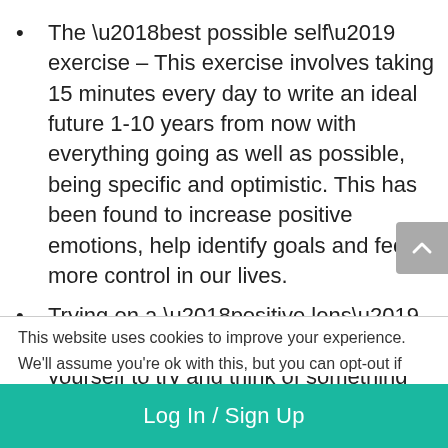The ‘best possible self’ exercise – This exercise involves taking 15 minutes every day to write an ideal future 1-10 years from now with everything going as well as possible, being specific and optimistic. This has been found to increase positive emotions, help identify goals and feel more control in our lives.
Trying on a ‘positive lens’ – making a conscious effort to challenge yourself to try and think of something positive in every situation, this small effort has been
This website uses cookies to improve your experience.
We’ll assume you’re ok with this, but you can opt-out if
Log In / Sign Up